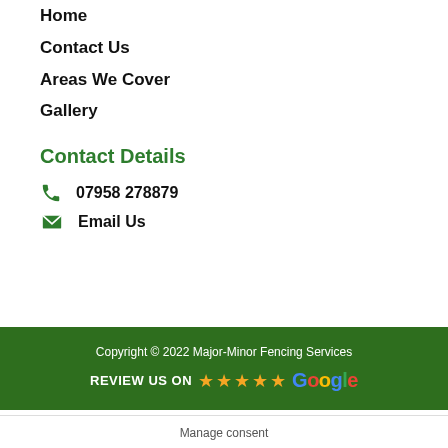Home
Contact Us
Areas We Cover
Gallery
Contact Details
07958 278879
Email Us
Copyright © 2022 Major-Minor Fencing Services
REVIEW US ON ★★★★★ Google
Manage consent